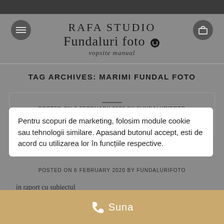RAFA STUDIO
Fundaluri foto
vopsite manual
TAG ARCHIVES: MARIMI FUNDAL FOTO
Pentru scopuri de marketing, folosim module cookie sau tehnologii similare. Apasand butonul accept, esti de acord ...
POSTED ON 6 FEBRUARY 2020 BY FUNDALURIFOTO
in raport cu subiectul
Suna